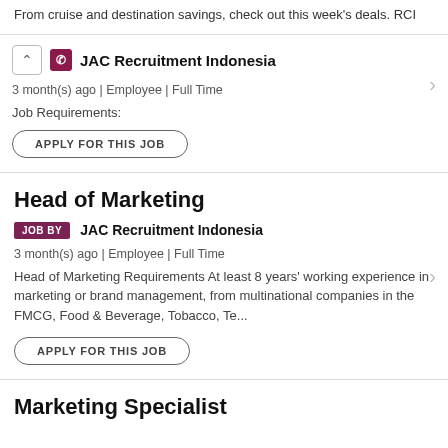From cruise and destination savings, check out this week's deals. RCI
JAC Recruitment Indonesia
3 month(s) ago | Employee | Full Time
Job Requirements:
APPLY FOR THIS JOB
Head of Marketing
JOB BY   JAC Recruitment Indonesia
3 month(s) ago | Employee | Full Time
Head of Marketing Requirements At least 8 years' working experience in marketing or brand management, from multinational companies in the FMCG, Food & Beverage, Tobacco, Te...
APPLY FOR THIS JOB
Marketing Specialist